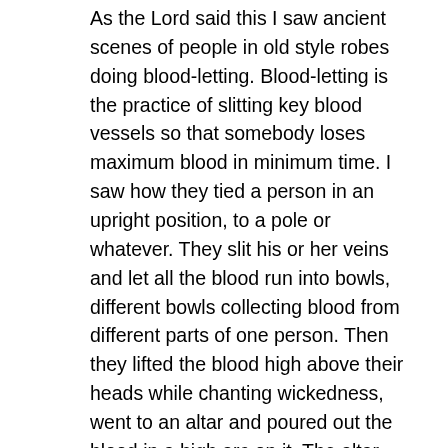As the Lord said this I saw ancient scenes of people in old style robes doing blood-letting. Blood-letting is the practice of slitting key blood vessels so that somebody loses maximum blood in minimum time. I saw how they tied a person in an upright position, to a pole or whatever. They slit his or her veins and let all the blood run into bowls, different bowls collecting blood from different parts of one person. Then they lifted the blood high above their heads while chanting wickedness, went to an altar and poured out the blood in a high arc on it. The altar seemed to open its mouth the way people do in soft drink ads and drink up all the blood poured on it, greedily. I saw this and thought, Lord what is the value of my existence? I was too shocked to fully absorb what I saw.

Then I saw similar altars raised up ALL OVER THE